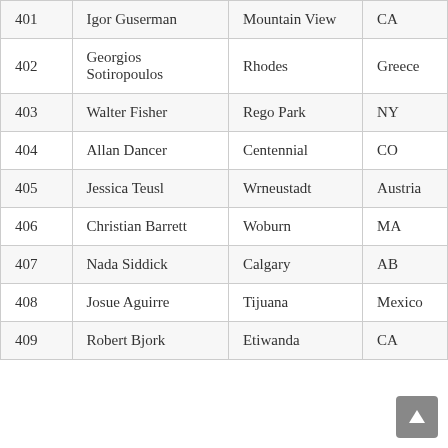| # | Name | City | State/Country |
| --- | --- | --- | --- |
| 401 | Igor Guserman | Mountain View | CA |
| 402 | Georgios Sotiropoulos | Rhodes | Greece |
| 403 | Walter Fisher | Rego Park | NY |
| 404 | Allan Dancer | Centennial | CO |
| 405 | Jessica Teusl | Wrneustadt | Austria |
| 406 | Christian Barrett | Woburn | MA |
| 407 | Nada Siddick | Calgary | AB |
| 408 | Josue Aguirre | Tijuana | Mexico |
| 409 | Robert Bjork | Etiwanda | CA |